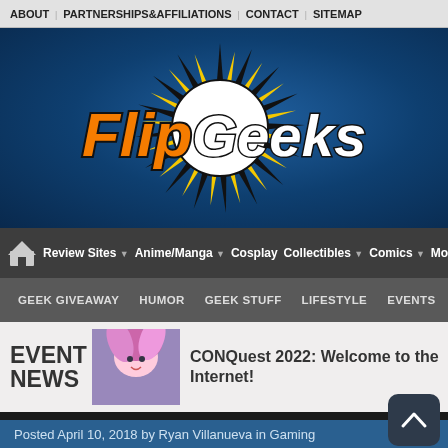ABOUT  PARTNERSHIPS&AFFILIATIONS  CONTACT  SITEMAP
[Figure (logo): FlipGeeks logo on blue textured background with comic-style starburst. Orange and white stylized text reading 'FlipGeeks' with black outlines.]
Home  Review Sites  Anime/Manga  Cosplay  Collectibles  Comics  Movi...
GEEK GIVEAWAY  HUMOR  GEEK STUFF  LIFESTYLE  EVENTS  ENTER...
EVENT NEWS
[Figure (illustration): Small thumbnail image of anime-style character with colorful hair]
CONQuest 2022: Welcome to the Internet!
Posted April 10, 2018 by Ryan Villanueva in Gaming